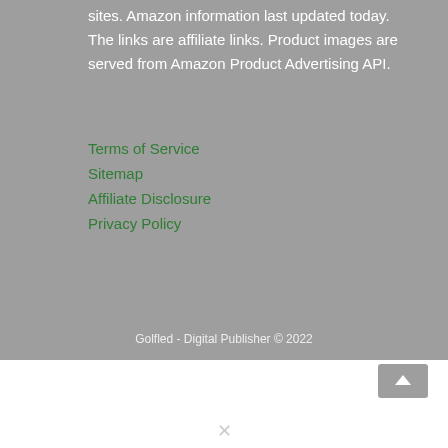sites. Amazon information last updated today. The links are affiliate links. Product images are served from Amazon Product Advertising API.
Terms of Service
Sitemap
Affiliate Disclosure
Privacy Policy
Golfled - Digital Publisher © 2022